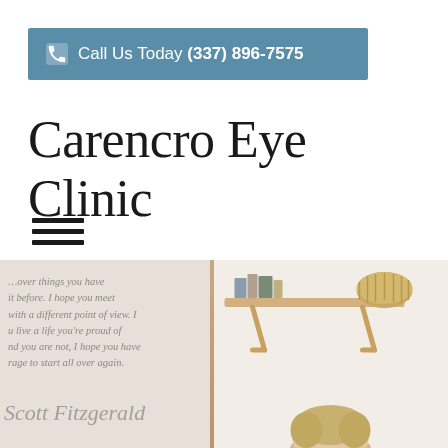Call Us Today (337) 896-7575
Carencro Eye Clinic
[Figure (photo): Decorative photo split: left panel shows an inspirational Scott Fitzgerald quote on a wall, right panel shows a wooden shelf with books and a wicker basket, with a blurred person below]
it before. I hope you meet
with a different point of view. I
u live a life you're proud of
nd you are not, I hope you have
rage to start all over again.
Scott Fitzgerald